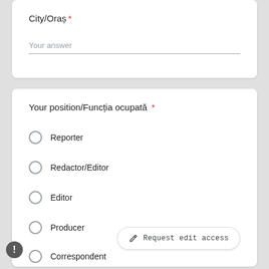City/Oraș *
Your answer
Your position/Funcția ocupată *
Reporter
Redactor/Editor
Editor
Producer
Correspondent
Request edit access